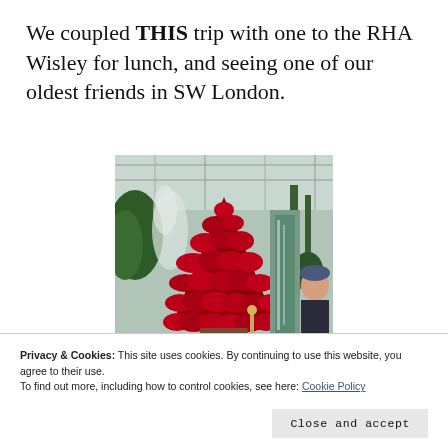We coupled THIS trip with one to the RHA Wisley for lunch, and seeing one of our oldest friends in SW London.
[Figure (photo): Photo taken inside a greenhouse/conservatory showing a large Christmas tree shape made entirely of red poinsettia flowers, with green tropical plants and a waterfall feature in the background. A person is visible on the right side.]
Privacy & Cookies: This site uses cookies. By continuing to use this website, you agree to their use.
To find out more, including how to control cookies, see here: Cookie Policy
Close and accept